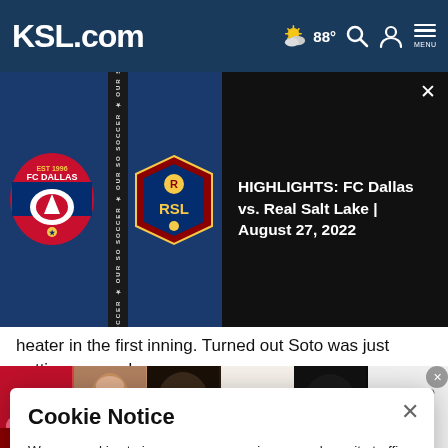KSL.com — 88° — Search, Account, Menu
[Figure (screenshot): Video thumbnail showing FC Dallas vs Real Salt Lake logos on dark blue background with vertical SOCCER text strip between logos]
HIGHLIGHTS: FC Dallas vs. Real Salt Lake | August 27, 2022
heater in the first inning. Turned out Soto was just getting warmed up.
He justified his place in the 4-spot, launching a leadoff drive
Cookie Notice
We use cookies to improve your experience, analyze site traffic, and to personalize content and ads. By continuing to use our site, you consent to our use of cookies. Please visit our Terms of Use and  Privacy Policy for more information
[Figure (photo): Ulta Beauty advertisement banner showing makeup/cosmetics images with SHOP NOW text]